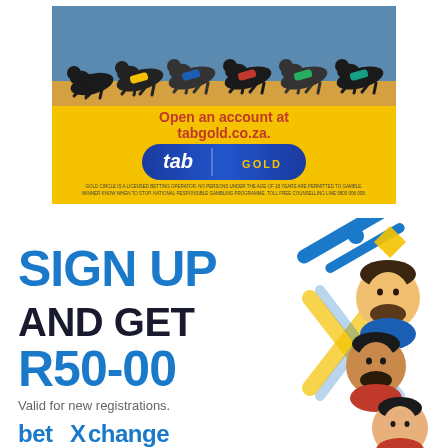[Figure (photo): Tab Gold advertisement banner. Top section shows greyhound dogs racing on a yellow/gold background. Text reads 'Open an account at tabgold.co.za.' with the Tab Gold logo. Small disclaimer text at bottom.]
[Figure (infographic): BetXchange advertisement. Large text reads 'SIGN UP AND GET R50-00'. Subtext 'Valid for new registrations.' BetXchange logo at bottom left. Illustrated soccer player faces and decorative geometric shapes on the right side.]